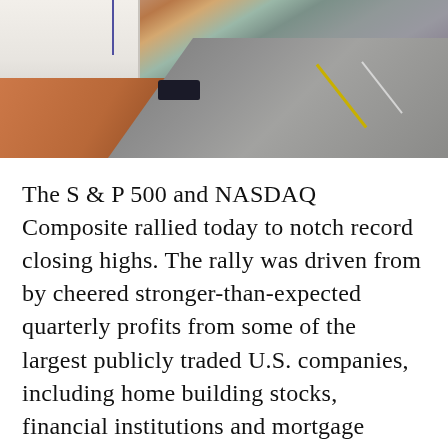[Figure (photo): Aerial view of a street with a building on the left, red/orange sidewalk, a dark car parked on the road, and a wide road with yellow center line extending to the right.]
The S & P 500 and NASDAQ Composite rallied today to notch record closing highs. The rally was driven from by cheered stronger-than-expected quarterly profits from some of the largest publicly traded U.S. companies, including home building stocks, financial institutions and mortgage lenders.
In the State of Missouri, all notary publics must be appointed and commissioned by the Missouri Secretary of State. We are appointed to a four-year term, must present a $10,000 bond and are sworn in by the County Clerk. Notaries can perform notarial acts anywhere within the state of Missouri.